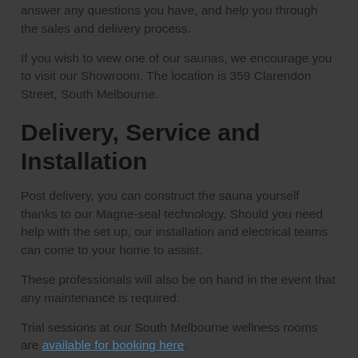answer any questions you have, and help you through the sales and delivery process.
If you wish to view one of our saunas, we encourage you to visit our Showroom. The location is 359 Clarendon Street, South Melbourne.
Delivery, Service and Installation
Post delivery, you can construct the sauna yourself thanks to our Magne-seal technology. Should you need help with the set up, our installation and electrical teams can come to your home to assist.
These professionals will also be on hand in the event that any maintenance is required.
Trial sessions at our South Melbourne wellness rooms are available for booking here.
To find out more, send us a message online or call us on 03